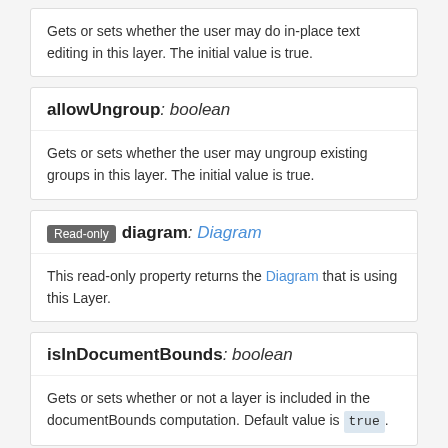Gets or sets whether the user may do in-place text editing in this layer. The initial value is true.
allowUngroup: boolean
Gets or sets whether the user may ungroup existing groups in this layer. The initial value is true.
Read-only diagram: Diagram
This read-only property returns the Diagram that is using this Layer.
isInDocumentBounds: boolean
Gets or sets whether or not a layer is included in the documentBounds computation. Default value is true.